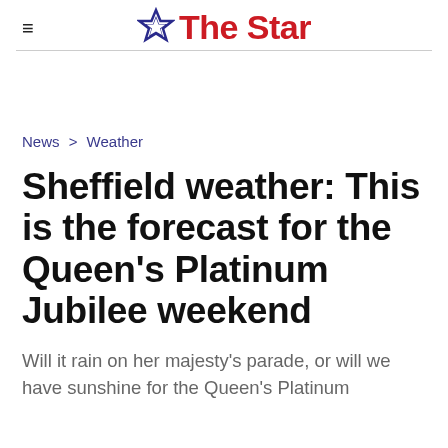≡  ☆ The Star
News > Weather
Sheffield weather: This is the forecast for the Queen's Platinum Jubilee weekend
Will it rain on her majesty's parade, or will we have sunshine for the Queen's Platinum